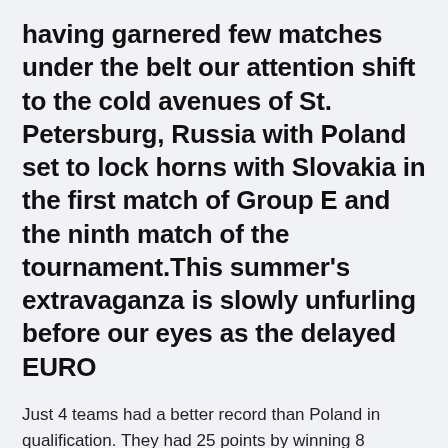having garnered few matches under the belt our attention shift to the cold avenues of St. Petersburg, Russia with Poland set to lock horns with Slovakia in the first match of Group E and the ninth match of the tournament.This summer's extravaganza is slowly unfurling before our eyes as the delayed EURO
Just 4 teams had a better record than Poland in qualification. They had 25 points by winning 8 matches out of 10.
Here is a look at the Poland vs Slovakia team news, our prediction, and details of how to watch Poland vs Slovakia on TV, including Euro 2020: Pol...